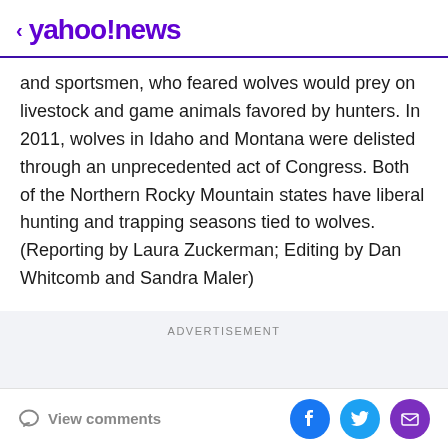< yahoo!news
and sportsmen, who feared wolves would prey on livestock and game animals favored by hunters. In 2011, wolves in Idaho and Montana were delisted through an unprecedented act of Congress. Both of the Northern Rocky Mountain states have liberal hunting and trapping seasons tied to wolves. (Reporting by Laura Zuckerman; Editing by Dan Whitcomb and Sandra Maler)
ADVERTISEMENT
View comments